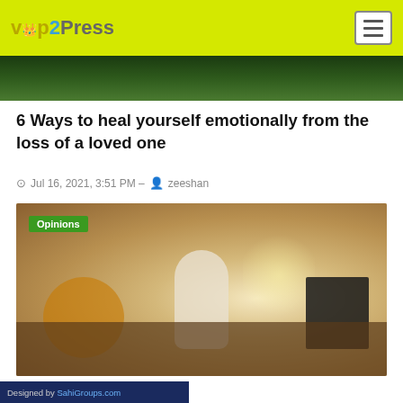vip2Press
[Figure (photo): Green nature/landscape image strip at top of article]
6 Ways to heal yourself emotionally from the loss of a loved one
Jul 16, 2021, 3:51 PM – zeeshan
[Figure (photo): Woman sitting at a desk in a warm office holding a cup, with a bicycle in the background and fairy lights. Green 'Opinions' badge overlay in top-left.]
ke at work
Designed by SahiGroups.com